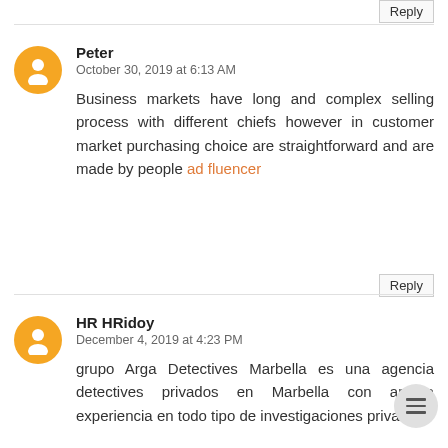Reply
Peter
October 30, 2019 at 6:13 AM
Business markets have long and complex selling process with different chiefs however in customer market purchasing choice are straightforward and are made by people ad fluencer
Reply
HR HRidoy
December 4, 2019 at 4:23 PM
grupo Arga Detectives Marbella es una agencia detectives privados en Marbella con amplia experiencia en todo tipo de investigaciones privadas.